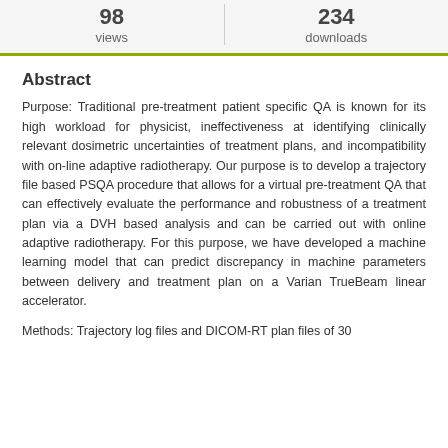98 views | 234 downloads
Abstract
Purpose: Traditional pre-treatment patient specific QA is known for its high workload for physicist, ineffectiveness at identifying clinically relevant dosimetric uncertainties of treatment plans, and incompatibility with on-line adaptive radiotherapy. Our purpose is to develop a trajectory file based PSQA procedure that allows for a virtual pre-treatment QA that can effectively evaluate the performance and robustness of a treatment plan via a DVH based analysis and can be carried out with online adaptive radiotherapy. For this purpose, we have developed a machine learning model that can predict discrepancy in machine parameters between delivery and treatment plan on a Varian TrueBeam linear accelerator.
Methods: Trajectory log files and DICOM-RT plan files of 30